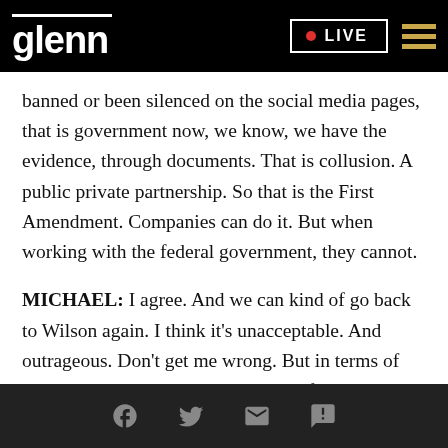glenn  • LIVE
banned or been silenced on the social media pages, that is government now, we know, we have the evidence, through documents. That is collusion. A public private partnership. So that is the First Amendment. Companies can do it. But when working with the federal government, they cannot.
MICHAEL: I agree. And we can kind of go back to Wilson again. I think it's unacceptable. And outrageous. Don't get me wrong. But in terms of the lawsuit. I'm sure, in their terms of service, they all
[Facebook] [Twitter] [Email] [SMS]